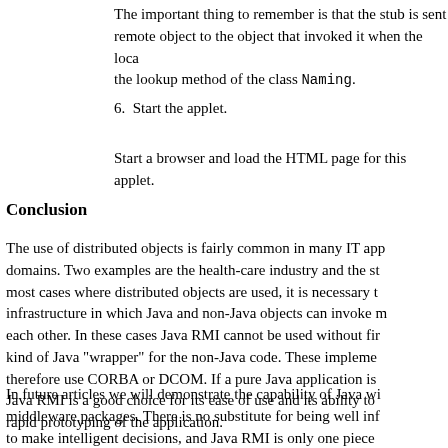The important thing to remember is that the stub is sent remote object to the object that invoked it when the loca the lookup method of the class Naming.
6. Start the applet.
Start a browser and load the HTML page for this applet.
Conclusion
The use of distributed objects is fairly common in many IT app domains. Two examples are the health-care industry and the st most cases where distributed objects are used, it is necessary t infrastructure in which Java and non-Java objects can invoke m each other. In these cases Java RMI cannot be used without fir kind of Java "wrapper" for the non-Java code. These implemen therefore use CORBA or DCOM. If a pure Java application is Java RMI is a good choice for its ease of use and its ability to rapid prototyping of the application.
In future articles we will demonstrate the capability of Java wi middleware packages. There is no substitute for being well inf to make intelligent decisions, and Java RMI is only one piece